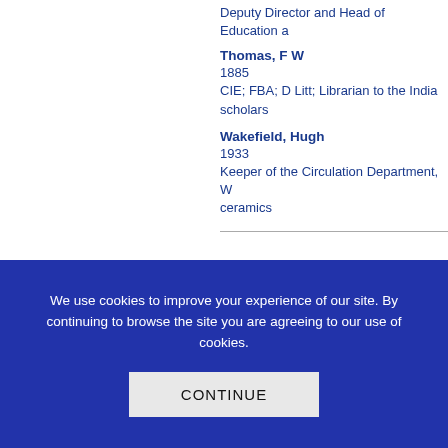Deputy Director and Head of Education a
Thomas, F W
1885
CIE; FBA; D Litt; Librarian to the India scholars
Wakefield, Hugh
1933
Keeper of the Circulation Department, W ceramics
We use cookies to improve your experience of our site. By continuing to browse the site you are agreeing to our use of cookies.
CONTINUE